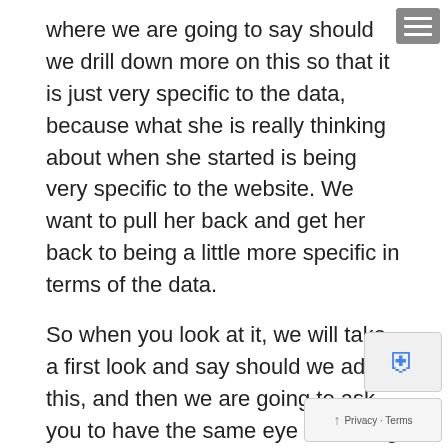where we are going to say should we drill down more on this so that it is just very specific to the data, because what she is really thinking about when she started is being very specific to the website. We want to pull her back and get her back to being a little more specific in terms of the data.
So when you look at it, we will take a first look and say should we adjust this, and then we are going to ask you to have the same eye of looking at adjusting it to be a data focus as opposed to just a website focus. Then the other thing we will do is include for those of you who haven't seen it — you know what, Lily, we need to give people access to the — so we have lots of materials. So what we want to do is give you access to it. It will give you a sense of some of the past materials that we have. You also will be able to see kind of the beginning of the guidance that we were developing which Kenyon did a — we did a presentation at NCHS